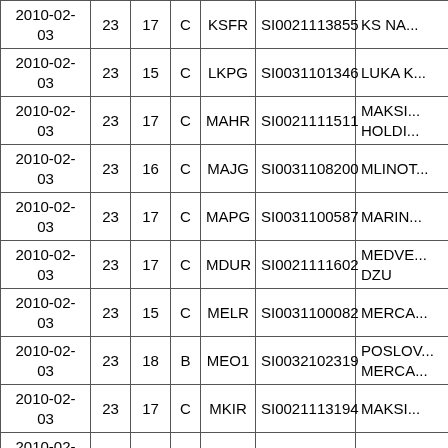| 2010-02-03 | 23 | 17 | C | KSFR | SI0021113855 | KS NA... |
| 2010-02-03 | 23 | 15 | C | LKPG | SI0031101346 | LUKA K... |
| 2010-02-03 | 23 | 17 | C | MAHR | SI0021111511 | MAKSI... HOLDI... |
| 2010-02-03 | 23 | 16 | C | MAJG | SI0031108200 | MLINOT... |
| 2010-02-03 | 23 | 17 | C | MAPG | SI0031100587 | MARIN... |
| 2010-02-03 | 23 | 17 | C | MDUR | SI0021111602 | MEDVE... DZU |
| 2010-02-03 | 23 | 15 | C | MELR | SI0031100082 | MERCA... |
| 2010-02-03 | 23 | 18 | B | MEO1 | SI0032102319 | POSLOV... MERCA... |
| 2010-02-03 | 23 | 17 | C | MKIR | SI0021113194 | MAKSI... |
| 2010-02-03 | 23 | 17 | C | MKOG | SI0031101304 | MELAM... |